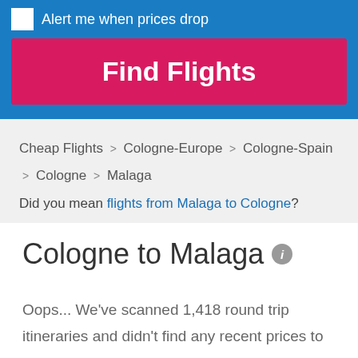Alert me when prices drop
Find Flights
Cheap Flights > Cologne-Europe > Cologne-Spain > Cologne > Malaga
Did you mean flights from Malaga to Cologne?
Cologne to Malaga
Oops... We've scanned 1,418 round trip itineraries and didn't find any recent prices to Malaga that we think are great deals. Run an airfare search now to update and